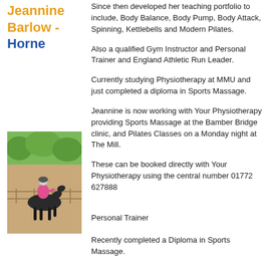Jeannine Barlow - Horne
Since then developed her teaching portfolio to include, Body Balance, Body Pump, Body Attack, Spinning, Kettlebells and Modern Pilates.
Also a qualified Gym Instructor and Personal Trainer and England Athletic Run Leader.
[Figure (photo): Person riding a horse in an outdoor arena with trees in the background]
Currently studying Physiotherapy at MMU and just completed a diploma in Sports Massage.
Jeannine is now working with Your Physiotherapy providing Sports Massage at the Bamber Bridge clinic, and Pilates Classes on a Monday night at The Mill.
These can be booked directly with Your Physiotherapy using the central number 01772 627888
Personal Trainer
Recently completed a Diploma in Sports Massage.
Fully qualified Level 3 Advanced Personal Trainer & Level 4 VTCT Sports Massage Therapist.